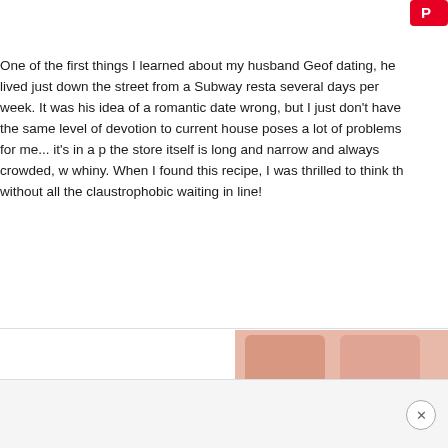[Figure (logo): Pinterest logo button, red background, top right corner]
One of the first things I learned about my husband Geof dating, he lived just down the street from a Subway resta several days per week. It was his idea of a romantic date wrong, but I just don't have the same level of devotion to current house poses a lot of problems for me... it's in a p the store itself is long and narrow and always crowded, w whiny. When I found this recipe, I was thrilled to think th without all the claustrophobic waiting in line!
[Figure (photo): Close-up photo of pink/peach colored bread rolls or buns on a light cream cloth or napkin]
[Figure (other): Advertisement banner at bottom of page with close X button]